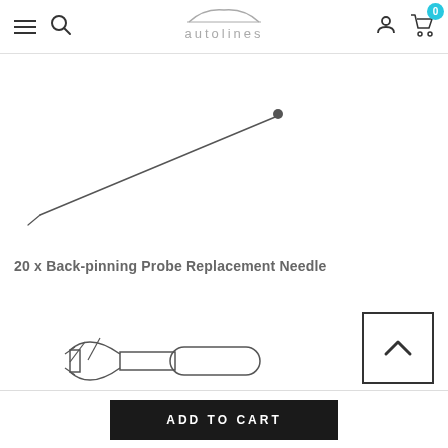autolines - navigation header with menu, search, account, and cart icons
[Figure (illustration): Line drawing of a thin needle/pin at an angle, pointed at one end]
20 x Back-pinning Probe Replacement Needle
[Figure (illustration): Line drawing of a back-pinning probe tool with clip/clamp mechanism and cylindrical body]
[Figure (other): Back to top button with upward chevron arrow inside a square border]
ADD TO CART